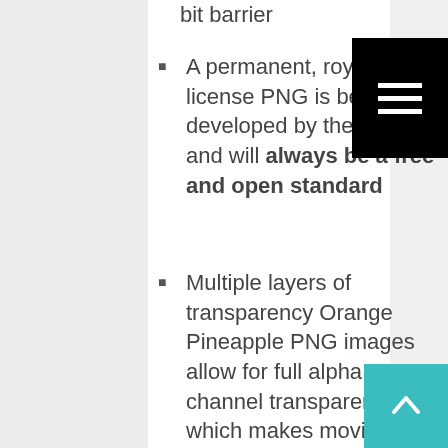bit barrier
A permanent, royalty-free license PNG is being developed by the W3C, and will always be a free and open standard
Multiple layers of transparency Orange Pineapple PNG images allow for full alpha channel transparency, which makes moving images from one background to